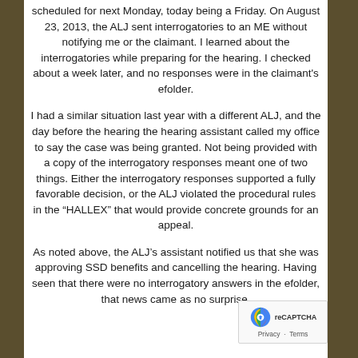scheduled for next Monday, today being a Friday. On August 23, 2013, the ALJ sent interrogatories to an ME without notifying me or the claimant. I learned about the interrogatories while preparing for the hearing. I checked about a week later, and no responses were in the claimant's efolder.
I had a similar situation last year with a different ALJ, and the day before the hearing the hearing assistant called my office to say the case was being granted. Not being provided with a copy of the interrogatory responses meant one of two things. Either the interrogatory responses supported a fully favorable decision, or the ALJ violated the procedural rules in the "HALLEX" that would provide concrete grounds for an appeal.
As noted above, the ALJ's assistant notified us that she was approving SSD benefits and cancelling the hearing. Having seen that there were no interrogatory answers in the efolder, that news came as no surprise.